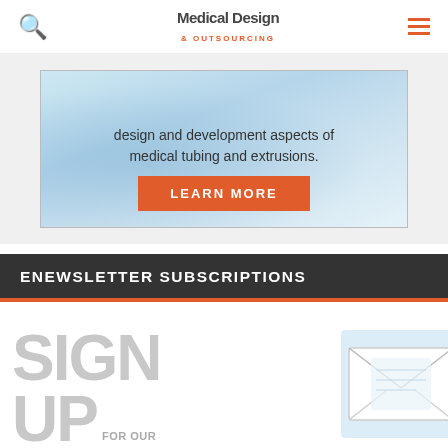Medical Design & Outsourcing
[Figure (photo): Advertisement banner for medical tubing and extrusions with text 'design and development aspects of medical tubing and extrusions.' and a 'LEARN MORE' button]
ENEWSLETTER SUBSCRIPTIONS
[Figure (infographic): Sign up for our newsletter promotional graphic with large 'SIGN UP FOR OUR NEWSLETTER' text in gray and orange, with an envelope/email icon image on the right]